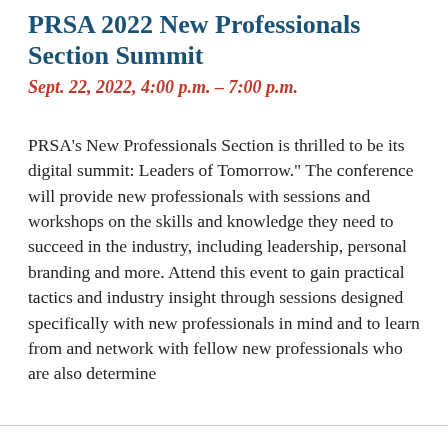PRSA 2022 New Professionals Section Summit
Sept. 22, 2022, 4:00 p.m. – 7:00 p.m.
PRSA's New Professionals Section is thrilled to be its digital summit: Leaders of Tomorrow." The conference will provide new professionals with sessions and workshops on the skills and knowledge they need to succeed in the industry, including leadership, personal branding and more. Attend this event to gain practical tactics and industry insight through sessions designed specifically with new professionals in mind and to learn from and network with fellow new professionals who are also determine